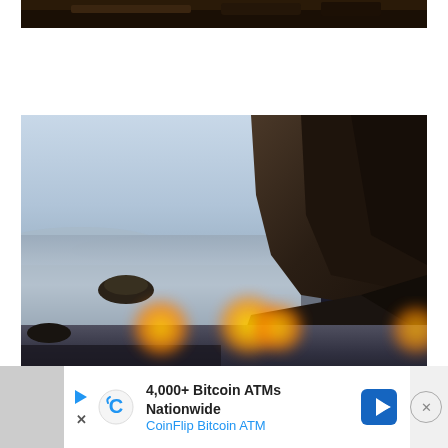[Figure (photo): Partial top edge of a dark photo, showing dark brown/black tones, likely the bottom of a previous photo]
[Figure (photo): Long-exposure coastal photograph showing a rocky cliff on the right, calm misty water, small rocks in the water, blue-grey sky with distant mountains, and orange bokeh lights (candles or lights) in the foreground bottom area]
4,000+ Bitcoin ATMs Nationwide
CoinFlip Bitcoin ATM